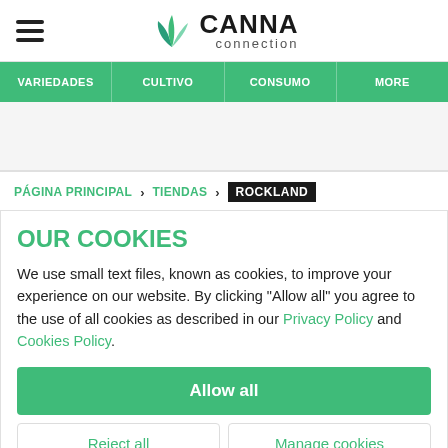CANNA connection
VARIEDADES | CULTIVO | CONSUMO | MORE
PÁGINA PRINCIPAL > TIENDAS > ROCKLAND
OUR COOKIES
We use small text files, known as cookies, to improve your experience on our website. By clicking "Allow all" you agree to the use of all cookies as described in our Privacy Policy and Cookies Policy.
Allow all
Reject all
Manage cookies